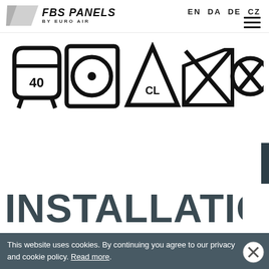EN DA DE CZ — FBS PANELS BY EURO AIR
[Figure (infographic): Five laundry care symbols in a row: wash at 40 degrees, tumble dry low heat (circle with dot), bleach with CL (triangle), do not iron (crossed iron), do not dry clean (crossed circle)]
INSTALLATION
This website uses cookies. By continuing you agree to our privacy and cookie policy. Read more.